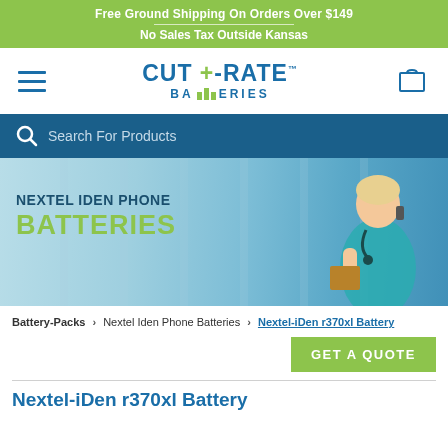Free Ground Shipping On Orders Over $149
No Sales Tax Outside Kansas
[Figure (logo): Cut-Rate Batteries logo with hamburger menu and shopping cart icon]
[Figure (screenshot): Search bar with magnifying glass icon and placeholder text: Search For Products]
[Figure (photo): Hero banner showing a healthcare professional in teal scrubs holding a clipboard and talking on phone, with text NEXTEL IDEN PHONE BATTERIES]
Battery-Packs › Nextel Iden Phone Batteries › Nextel-iDen r370xl Battery
GET A QUOTE
Nextel-iDen r370xl Battery